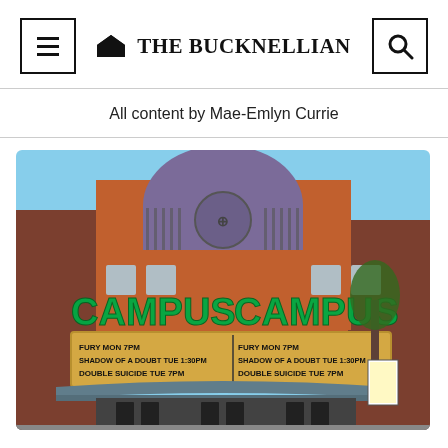THE BUCKNELLIAN
All content by Mae-Emlyn Currie
[Figure (photo): Exterior photograph of the Campus Theatre, an Art Deco style building with orange/red brick facade and large green neon 'CAMPUS' signs on either side. The marquee displays showtimes: FURY MON 7PM, SHADOW OF A DOUBT TUE 1:30PM, DOUBLE SUICIDE TUE 7PM on the left side, and FURY MON 7PM, SHADOW OF A DOUBT TUE 1:30PM, DOUBLE SUICIDE TUE 7PM on the right side.]